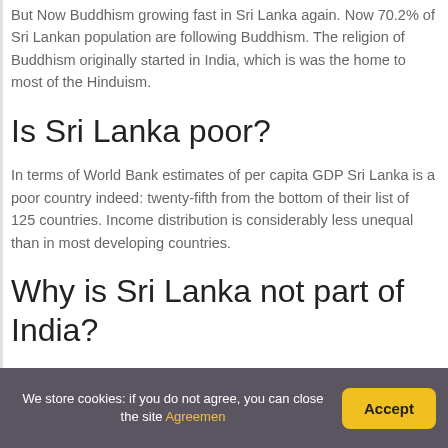But Now Buddhism growing fast in Sri Lanka again. Now 70.2% of Sri Lankan population are following Buddhism. The religion of Buddhism originally started in India, which is was the home to most of the Hinduism.
Is Sri Lanka poor?
In terms of World Bank estimates of per capita GDP Sri Lanka is a poor country indeed: twenty-fifth from the bottom of their list of 125 countries. Income distribution is considerably less unequal than in most developing countries.
Why is Sri Lanka not part of India?
We store cookies: if you do not agree, you can close the site Agreemen  Accept